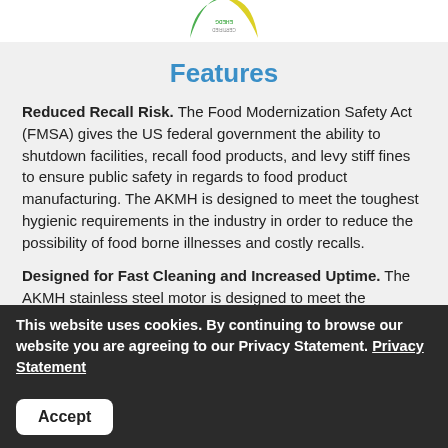[Figure (logo): Partial circular logo with green and yellow segments, text appears upside down/rotated, cropped at top of page]
Features
Reduced Recall Risk. The Food Modernization Safety Act (FMSA) gives the US federal government the ability to shutdown facilities, recall food products, and levy stiff fines to ensure public safety in regards to food product manufacturing. The AKMH is designed to meet the toughest hygienic requirements in the industry in order to reduce the possibility of food borne illnesses and costly recalls.
Designed for Fast Cleaning and Increased Uptime. The AKMH stainless steel motor is designed to meet the standards for IP69K, EHEDG, and 3A and is built with FDA approved, food grade materials. The careful elimination of flat surfaces, cracks, and crevices prevents the build-up of foreign material and bacteria. The AKMH housing and cable
This website uses cookies. By continuing to browse our website you are agreeing to our Privacy Statement. Privacy Statement
Accept